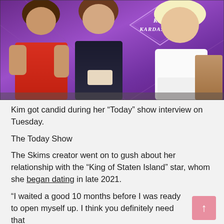[Figure (photo): TV talk show set with purple background and 'Kim Kardashian' diamond-shaped name card. Three people seated: two hosts on the left and Kim Kardashian in white outfit on the right.]
Kim got candid during her “Today” show interview on Tuesday.
The Today Show
The Skims creator went on to gush about her relationship with the “King of Staten Island” star, whom she began dating in late 2021.
“I waited a good 10 months before I was ready to open myself up. I think you definitely need that